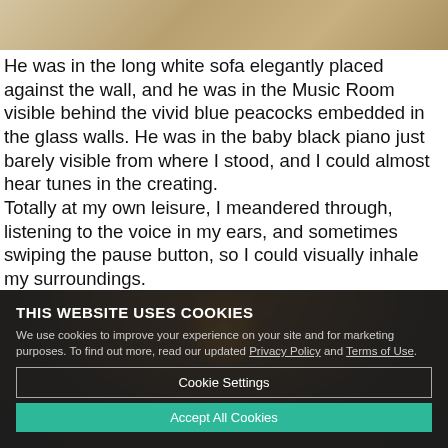[Figure (photo): Top portion of an interior room photo showing a sofa and decor, partially cropped]
He was in the long white sofa elegantly placed against the wall, and he was in the Music Room visible behind the vivid blue peacocks embedded in the glass walls. He was in the baby black piano just barely visible from where I stood, and I could almost hear tunes in the creating.
Totally at my own leisure, I meandered through, listening to the voice in my ears, and sometimes swiping the pause button, so I could visually inhale my surroundings.
The kitchen where the infamous PB&B sandwiches were made.
[Figure (photo): Background photo of a dimly lit interior room with a lamp glowing, partially visible behind cookie consent overlay]
THIS WEBSITE USES COOKIES
We use cookies to improve your experience on your site and for marketing purposes. To find out more, read our updated Privacy Policy and Terms of Use.
Cookie Settings
Accept All Cookies